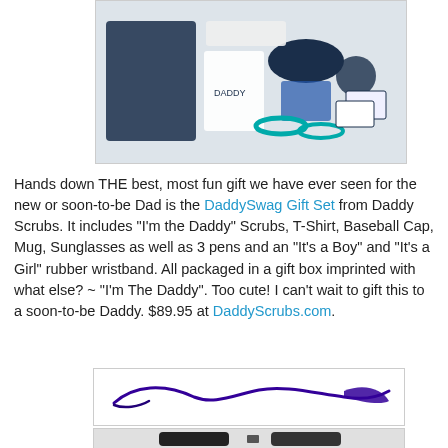[Figure (photo): DaddySwag Gift Set product photo showing navy scrubs, towel, baseball cap, sunglasses, mug, rubber wristbands, pens, and other items arranged together]
Hands down THE best, most fun gift we have ever seen for the new or soon-to-be Dad is the DaddySwag Gift Set from Daddy Scrubs. It includes "I'm the Daddy" Scrubs, T-Shirt, Baseball Cap, Mug, Sunglasses as well as 3 pens and an "It's a Boy" and "It's a Girl" rubber wristband. All packaged in a gift box imprinted with what else? ~ "I'm The Daddy". Too cute! I can't wait to gift this to a soon-to-be Daddy. $89.95 at DaddyScrubs.com.
[Figure (illustration): Decorative swirl/flourish divider graphic in dark purple/navy color]
[Figure (photo): Camera or electronic device product photo showing two black devices side by side]